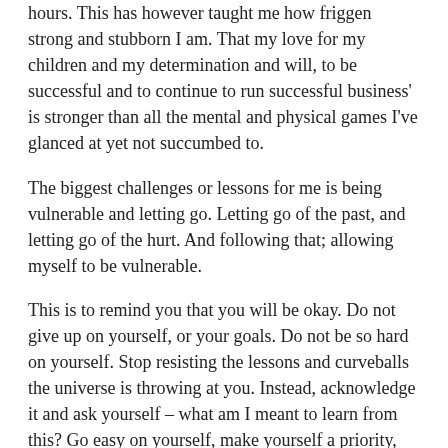hours. This has however taught me how friggen strong and stubborn I am. That my love for my children and my determination and will, to be successful and to continue to run successful business' is stronger than all the mental and physical games I've glanced at yet not succumbed to.
The biggest challenges or lessons for me is being vulnerable and letting go. Letting go of the past, and letting go of the hurt. And following that; allowing myself to be vulnerable.
This is to remind you that you will be okay. Do not give up on yourself, or your goals. Do not be so hard on yourself. Stop resisting the lessons and curveballs the universe is throwing at you. Instead, acknowledge it and ask yourself – what am I meant to learn from this? Go easy on yourself, make yourself a priority, and most of all smile!!!